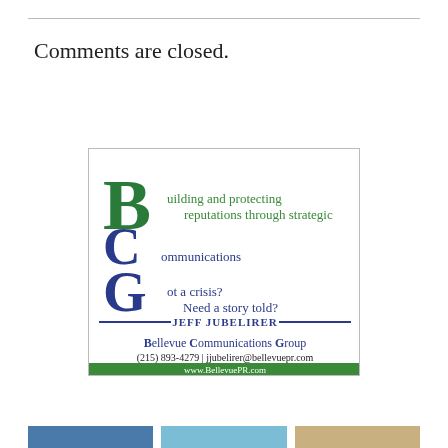Comments are closed.
[Figure (logo): Bellevue Communications Group advertisement with BCG letter logo, tagline 'Building and protecting reputations through strategic Communications Got a crisis? Need a story told?', Jeff Jubelirer, phone (215) 893-4279, jjubelirer@bellevuepr.com, www.BellevuePR.com]